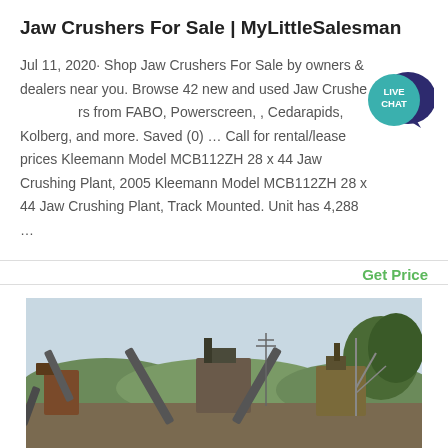Jaw Crushers For Sale | MyLittleSalesman
Jul 11, 2020· Shop Jaw Crushers For Sale by owners & dealers near you. Browse 42 new and used Jaw Crushers from FABO, Powerscreen, , Cedarapids, Kolberg, and more. Saved (0) … Call for rental/lease prices Kleemann Model MCB112ZH 28 x 44 Jaw Crushing Plant, 2005 Kleemann Model MCB112ZH 28 x 44 Jaw Crushing Plant, Track Mounted. Unit has 4,288 …
Get Price
[Figure (photo): Outdoor photo of heavy industrial jaw crushing plant machinery with conveyor belts and equipment against a backdrop of hills and trees]